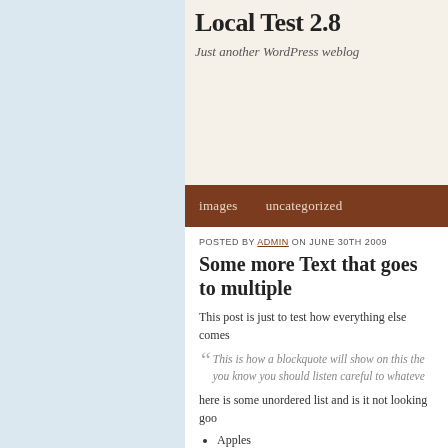Local Test 2.8
Just another WordPress weblog
images   uncategorized
POSTED BY ADMIN ON JUNE 30TH 2009
Some more Text that goes to multiple
This post is just to test how everything else comes
This is how a blockquote will show on this ther you know you should listen careful to whateve
here is some unordered list and is it not looking goo
Apples
Oranges
Bananas
Peaches
and there must be an option to see how the ordere
First Time